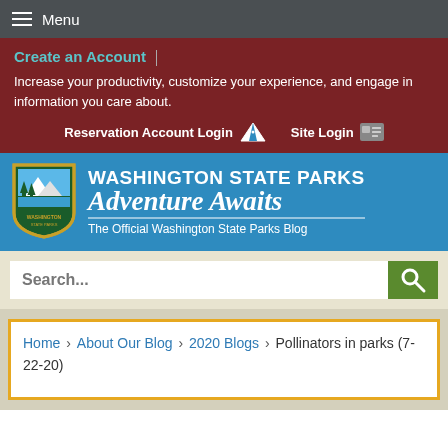Menu
Create an Account
Increase your productivity, customize your experience, and engage in information you care about.
Reservation Account Login   Site Login
[Figure (logo): Washington State Parks shield badge logo with mountains, trees, and water]
WASHINGTON STATE PARKS Adventure Awaits The Official Washington State Parks Blog
Search...
Home › About Our Blog › 2020 Blogs › Pollinators in parks (7-22-20)